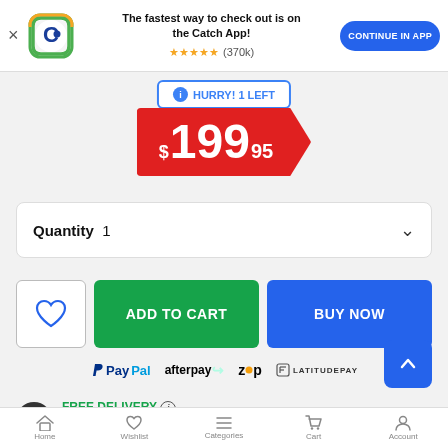[Figure (screenshot): Catch app promotional banner with logo, headline, star rating and continue button]
HURRY! 1 LEFT
$199.95
Quantity  1
[Figure (other): Wishlist heart icon button]
ADD TO CART
BUY NOW
[Figure (logo): Payment methods: PayPal, afterpay, Zip, LatitudePay]
FREE DELIVERY
Marketplace · Leaves warehouse in 2 business days
Home  Wishlist  Categories  Cart  Account